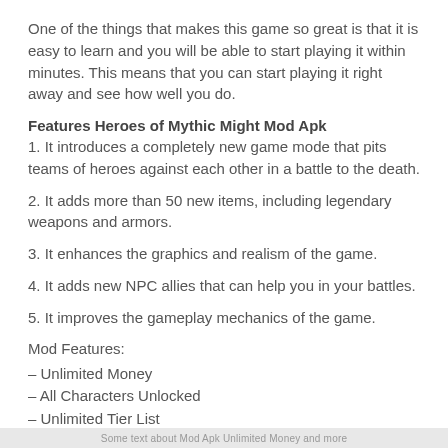One of the things that makes this game so great is that it is easy to learn and you will be able to start playing it within minutes. This means that you can start playing it right away and see how well you do.
Features Heroes of Mythic Might Mod Apk
1. It introduces a completely new game mode that pits teams of heroes against each other in a battle to the death.
2. It adds more than 50 new items, including legendary weapons and armors.
3. It enhances the graphics and realism of the game.
4. It adds new NPC allies that can help you in your battles.
5. It improves the gameplay mechanics of the game.
Mod Features:
– Unlimited Money
– All Characters Unlocked
– Unlimited Tier List
Some text about Mod Apk Unlimited Money and more